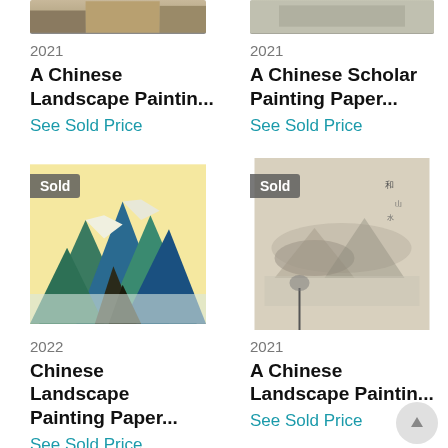[Figure (photo): Partial image of Chinese landscape painting at top left, cropped]
[Figure (photo): Partial image of Chinese scroll painting at top right, cropped]
2021
2021
A Chinese Landscape Paintin...
A Chinese Scholar Painting Paper...
See Sold Price
See Sold Price
[Figure (photo): Chinese landscape painting with mountains in blue-green style, 'Sold' badge overlay, year 2022]
[Figure (photo): Chinese scroll landscape painting in ink wash style, 'Sold' badge overlay, year 2021]
2022
2021
Chinese Landscape Painting Paper...
A Chinese Landscape Paintin...
See Sold Price
See Sold Price
[Figure (photo): Partial image of Chinese painting at bottom left, cropped]
[Figure (photo): Partial image of Chinese painting at bottom right, cropped]